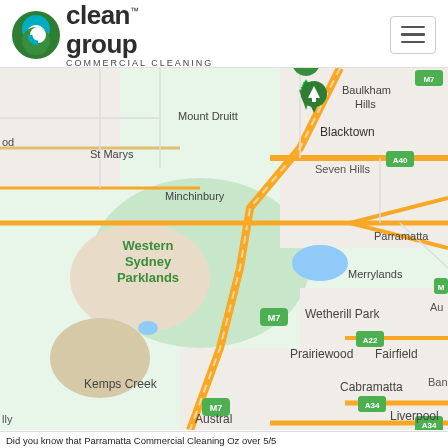[Figure (logo): Clean Group Commercial Cleaning logo with circular green/teal icon and text]
[Figure (map): Google Maps screenshot showing Western Sydney area including Blacktown, Mt Druitt, St Marys, Minchinbury, Western Sydney Parklands, Wetherill Park, Prairiewood, Fairfield, Kemps Creek, Cabramatta, Austral, Liverpool with M7, A40, A22, A34 road markers and a green location pin near Blacktown]
Did you know that Parramatta Commercial Cleaning Oz over 5/5